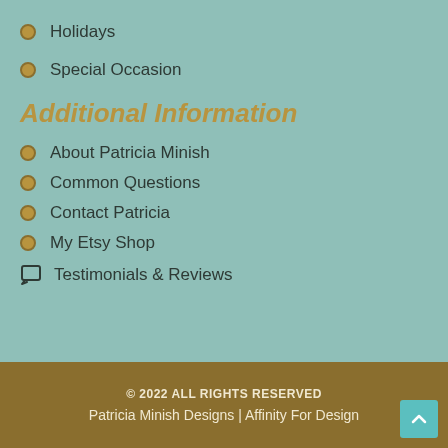Holidays
Special Occasion
Additional Information
About Patricia Minish
Common Questions
Contact Patricia
My Etsy Shop
Testimonials & Reviews
© 2022 ALL RIGHTS RESERVED
Patricia Minish Designs | Affinity For Design